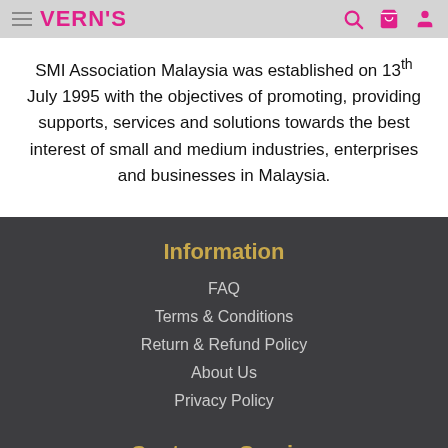VERN'S
SMI Association Malaysia was established on 13th July 1995 with the objectives of promoting, providing supports, services and solutions towards the best interest of small and medium industries, enterprises and businesses in Malaysia.
Information
FAQ
Terms & Conditions
Return & Refund Policy
About Us
Privacy Policy
Customer Service
Contact Us
Site Map